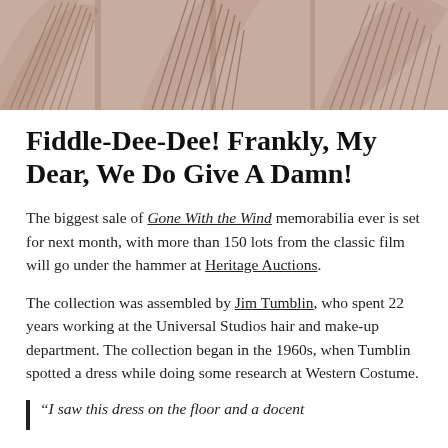[Figure (photo): Top portion of a decorative fabric or dress with an ornate fan/feather pattern in muted rose/taupe tones with dark linear embroidery details.]
Fiddle-Dee-Dee! Frankly, My Dear, We Do Give A Damn!
The biggest sale of Gone With the Wind memorabilia ever is set for next month, with more than 150 lots from the classic film will go under the hammer at Heritage Auctions.
The collection was assembled by Jim Tumblin, who spent 22 years working at the Universal Studios hair and make-up department. The collection began in the 1960s, when Tumblin spotted a dress while doing some research at Western Costume.
“I saw this dress on the floor and a docent